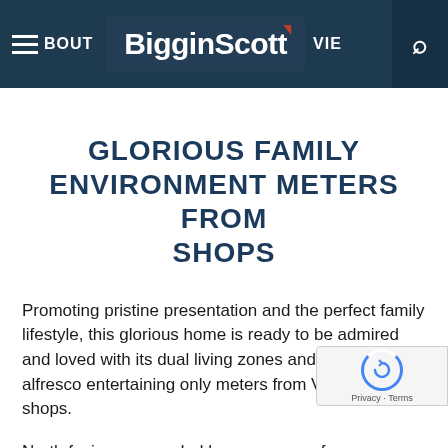[Figure (screenshot): BigginScott real estate website navigation bar with hamburger menu, ABOUT text, BigginScott logo with red triangle accent, VIE text, and search icon on dark navy background]
GLORIOUS FAMILY ENVIRONMENT METERS FROM SHOPS
Promoting pristine presentation and the perfect family lifestyle, this glorious home is ready to be admired and loved with its dual living zones and contemporary alfresco entertaining only meters from Vermont South shops.
North facing a preceded by a gorgeous fro... garden, the home's verandah welcomes you